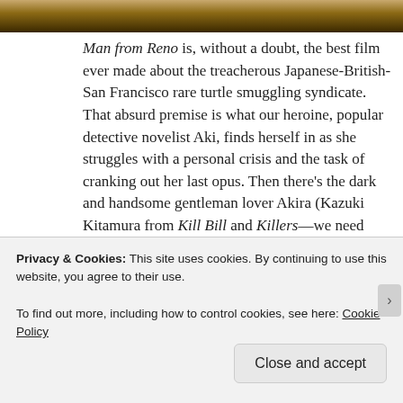[Figure (photo): Top portion of a photograph, showing warm brown/gold tones, partially cropped]
Man from Reno is, without a doubt, the best film ever made about the treacherous Japanese-British-San Francisco rare turtle smuggling syndicate. That absurd premise is what our heroine, popular detective novelist Aki, finds herself in as she struggles with a personal crisis and the task of cranking out her last opus. Then there's the dark and handsome gentleman lover Akira (Kazuki Kitamura from Kill Bill and Killers—we need more of this guy), who's got something to do
Privacy & Cookies: This site uses cookies. By continuing to use this website, you agree to their use.
To find out more, including how to control cookies, see here: Cookie Policy